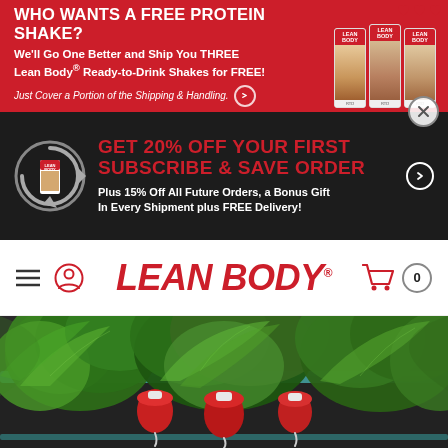WHO WANTS A FREE PROTEIN SHAKE? We'll Go One Better and Ship You THREE Lean Body® Ready-to-Drink Shakes for FREE! Just Cover a Portion of the Shipping & Handling.
[Figure (photo): Three Lean Body ready-to-drink shake cartons shown in top-right of red banner]
[Figure (infographic): GET 20% OFF YOUR FIRST SUBSCRIBE & SAVE ORDER — Plus 15% Off All Future Orders, a Bonus Gift In Every Shipment plus FREE Delivery! with Lean Body product and recycle/subscribe icon]
[Figure (logo): LEAN BODY brand logo in red italic bold text with registered trademark symbol, navigation bar with hamburger menu, user icon, and cart with 0 badge]
[Figure (photo): Close-up overhead photo of fresh leafy green vegetables including lettuce and radishes in a teal/turquoise container on a dark background]